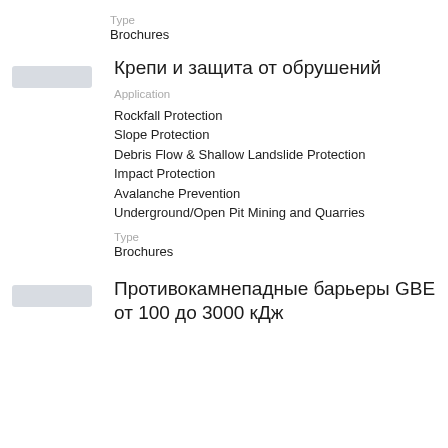Type
Brochures
[Figure (illustration): Small grey thumbnail placeholder image]
Крепи и защита от обрушений
Application
Rockfall Protection
Slope Protection
Debris Flow & Shallow Landslide Protection
Impact Protection
Avalanche Prevention
Underground/Open Pit Mining and Quarries
Type
Brochures
[Figure (illustration): Small grey thumbnail placeholder image]
Противокамнепадные барьеры GBE от 100 до 3000 кДж